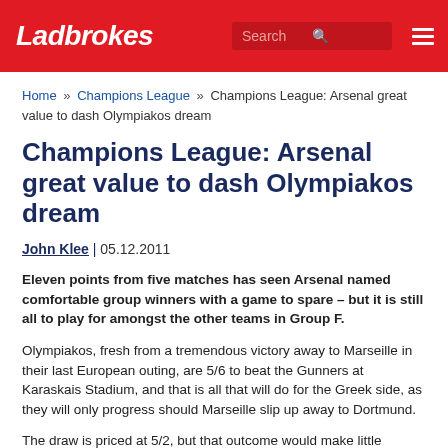Ladbrokes
Home » Champions League » Champions League: Arsenal great value to dash Olympiakos dream
Champions League: Arsenal great value to dash Olympiakos dream
John Klee | 05.12.2011
Eleven points from five matches has seen Arsenal named comfortable group winners with a game to spare – but it is still all to play for amongst the other teams in Group F.
Olympiakos, fresh from a tremendous victory away to Marseille in their last European outing, are 5/6 to beat the Gunners at Karaskais Stadium, and that is all that will do for the Greek side, as they will only progress should Marseille slip up away to Dortmund.
The draw is priced at 5/2, but that outcome would make little difference on the final group standings.
Meanwhile, group winners Arsenal – expected to field a weakened team in